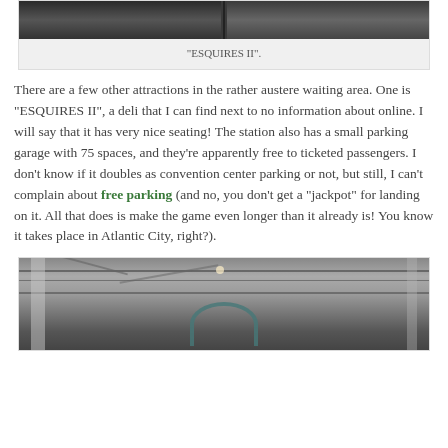[Figure (photo): Photo of Esquires II deli interior, partially visible at top of page]
"ESQUIRES II".
There are a few other attractions in the rather austere waiting area. One is “ESQUIRES II”, a deli that I can find next to no information about online. I will say that it has very nice seating! The station also has a small parking garage with 75 spaces, and they’re apparently free to ticketed passengers. I don’t know if it doubles as convention center parking or not, but still, I can’t complain about free parking (and no, you don’t get a “jackpot” for landing on it. All that does is make the game even longer than it already is! You know it takes place in Atlantic City, right?).
[Figure (photo): Interior photo of a train station showing steel truss ceiling structure, decorative arch, and large open space with pillars]